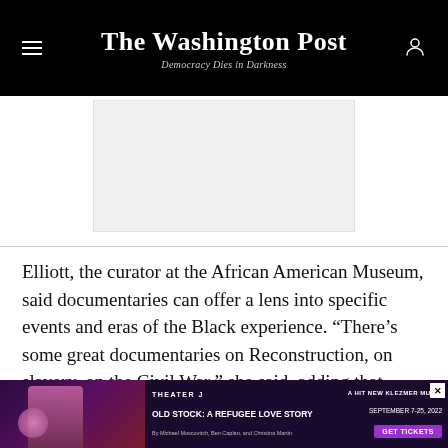The Washington Post — Democracy Dies in Darkness
[Figure (other): Advertisement placeholder (gray rectangle)]
Elliott, the curator at the African American Museum, said documentaries can offer a lens into specific events and eras of the Black experience. “There’s some great documentaries on Reconstruction, on slavery, on the Civil War,” she said, adding that viewers should also explore events that occurred after those periods, too.
[Figure (other): Advertisement banner: Theater J — Old Stock: A Refugee Love Story — A Hit New Klezmer Musical — September 7-25, 2022 — Get Tickets]